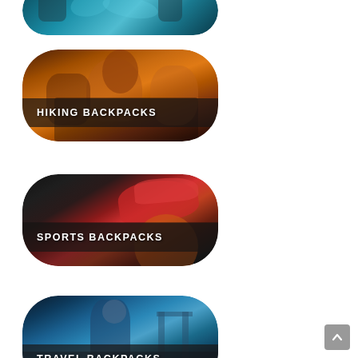[Figure (photo): Partial view of top category card (partially cropped at top) — appears to be an outdoor/kayaking scene with teal water tones, rounded pill shape]
[Figure (photo): Hiking Backpacks category button — pill/oval shaped image showing a person with a backpack in warm orange/brown tones, with text overlay 'HIKING BACKPACKS']
[Figure (photo): Sports Backpacks category button — pill/oval shaped image showing red sneakers and sports equipment on dark background, with text overlay 'SPORTS BACKPACKS']
[Figure (photo): Travel Backpacks category button — pill/oval shaped image showing a person with backpack in a city/bridge setting in blue tones, with text overlay 'TRAVEL BACKPACKS']